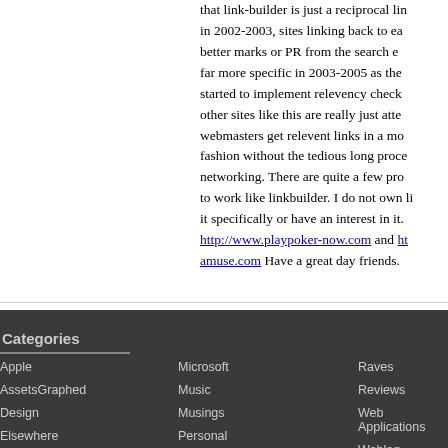that link-builder is just a reciprocal link-builder, in 2002-2003, sites linking back to each other got better marks or PR from the search engines. It got far more specific in 2003-2005 as the search engines started to implement relevency checks. Sites like this other sites like this are really just attempts to help webmasters get relevent links in a more automated fashion without the tedious long process of link-networking. There are quite a few programs that try to work like linkbuilder. I do not own li... it specifically or have an interest in it. http://www.playpoker-now.com and ht...amuse.com Have a great day friends.
Categories
Apple
AssetsGraphed
Design
Elsewhere
Experiences
Microsoft
Music
Musings
Personal
Rails
Raves
Reviews
Web Applications
Weblog
Windows